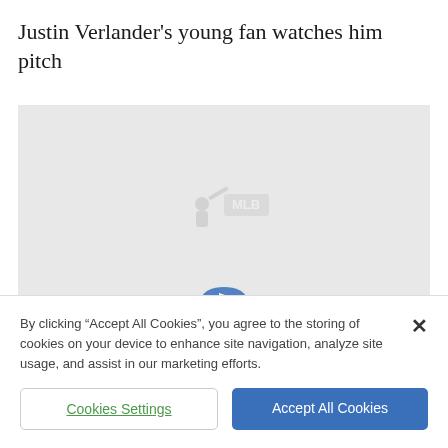Justin Verlander's young fan watches him pitch
[Figure (screenshot): MLB video placeholder with MLB logo watermark and a blue play button at the bottom center]
By clicking “Accept All Cookies”, you agree to the storing of cookies on your device to enhance site navigation, analyze site usage, and assist in our marketing efforts.
Cookies Settings
Accept All Cookies